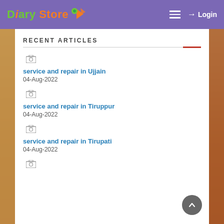Diary Store — Login
RECENT ARTICLES
service and repair in Ujjain
04-Aug-2022
service and repair in Tiruppur
04-Aug-2022
service and repair in Tirupati
04-Aug-2022